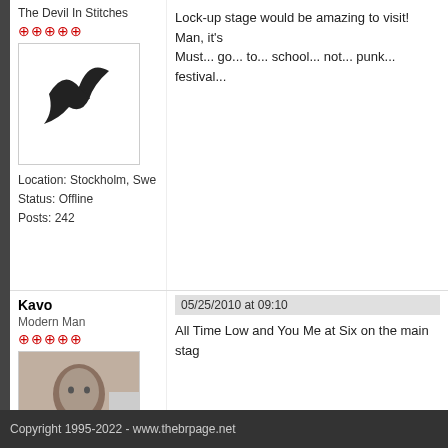The Devil In Stitches
[Figure (photo): Avatar image with bird/checkmark logo in a bordered box]
Location: Stockholm, Swe
Status: Offline
Posts: 242
Lock-up stage would be amazing to visit! Man, it's Must... go... to... school... not... punk... festival...
Kavo
Modern Man
05/25/2010 at 09:10
[Figure (photo): Avatar photo of a man, sepia/monochrome tone]
All Time Low and You Me at Six on the main stag
Location: Dublin, Ireland
Status: Offline
Posts: 649
Copyright 1995-2022 - www.thebrpage.net